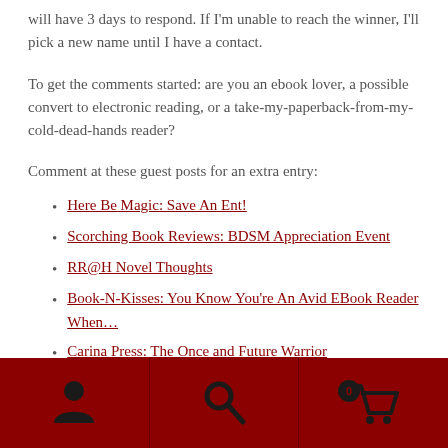will have 3 days to respond.  If I'm unable to reach the winner, I'll pick a new name until I have a contact.
To get the comments started:  are you an ebook lover, a possible convert to electronic reading, or a take-my-paperback-from-my-cold-dead-hands reader?
Comment at these guest posts for an extra entry:
Here Be Magic:  Save An Ent!
Scorching Book Reviews:  BDSM Appreciation Event
RR@H Novel Thoughts
Book-N-Kisses:  You Know You're An Avid EBook Reader When…
Carina Press:  The Once and Future Warrior
Navigation footer with user, search, and cart icons